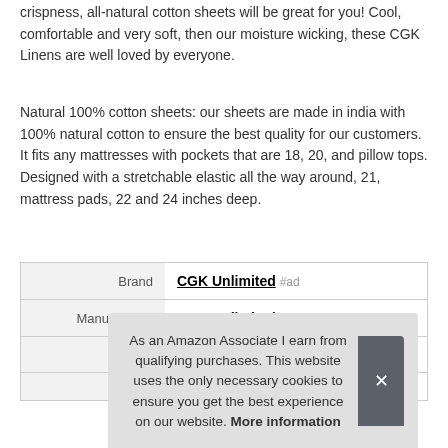crispness, all-natural cotton sheets will be great for you! Cool, comfortable and very soft, then our moisture wicking, these CGK Linens are well loved by everyone.
Natural 100% cotton sheets: our sheets are made in india with 100% natural cotton to ensure the best quality for our customers. It fits any mattresses with pockets that are 18, 20, and pillow tops. Designed with a stretchable elastic all the way around, 21, mattress pads, 22 and 24 inches deep.
|  |  |
| --- | --- |
| Brand | CGK Unlimited #ad |
| Manufacturer | CGK Unlimited #ad |
As an Amazon Associate I earn from qualifying purchases. This website uses the only necessary cookies to ensure you get the best experience on our website. More information